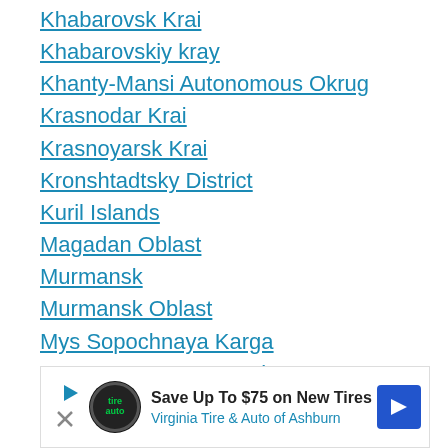Khabarovsk Krai
Khabarovskiy kray
Khanty-Mansi Autonomous Okrug
Krasnodar Krai
Krasnoyarsk Krai
Kronshtadtsky District
Kuril Islands
Magadan Oblast
Murmansk
Murmansk Oblast
Mys Sopochnaya Karga
Nenets Autonomous Okrug
Ostrove Tanfil'eva
Perm Krai
Primorskiy kray
Prir… (partially visible)
Rep… (partially visible)